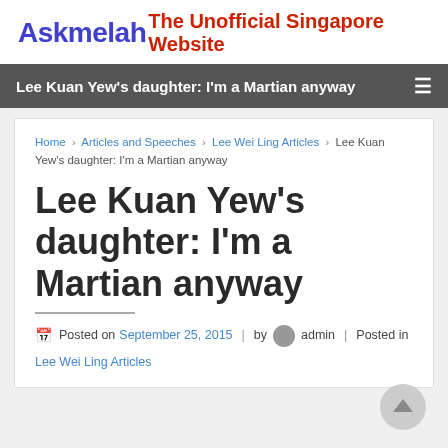Askmelah The Unofficial Singapore Website
Lee Kuan Yew's daughter: I'm a Martian anyway
Home › Articles and Speeches › Lee Wei Ling Articles › Lee Kuan Yew's daughter: I'm a Martian anyway
Lee Kuan Yew's daughter: I'm a Martian anyway
Posted on September 25, 2015 | by admin | Posted in Lee Wei Ling Articles